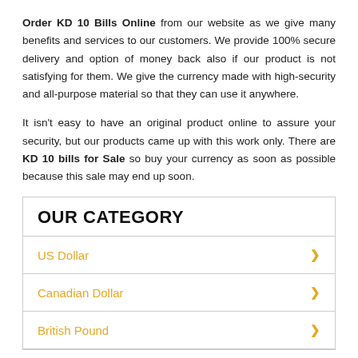Order KD 10 Bills Online from our website as we give many benefits and services to our customers. We provide 100% secure delivery and option of money back also if our product is not satisfying for them. We give the currency made with high-security and all-purpose material so that they can use it anywhere.
It isn't easy to have an original product online to assure your security, but our products came up with this work only. There are KD 10 bills for Sale so buy your currency as soon as possible because this sale may end up soon.
OUR CATEGORY
US Dollar
Canadian Dollar
British Pound